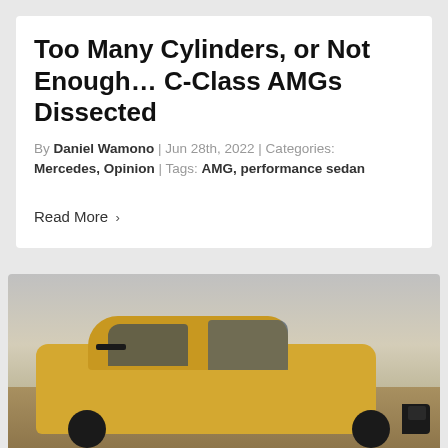Too Many Cylinders, or Not Enough… C-Class AMGs Dissected
By Daniel Wamono | Jun 28th, 2022 | Categories: Mercedes, Opinion | Tags: AMG, performance sedan
Read More ›
[Figure (photo): A yellow Mercedes-AMG C-Class sedan photographed from a three-quarter front angle against a cloudy sky, parked on a desert/arid landscape.]